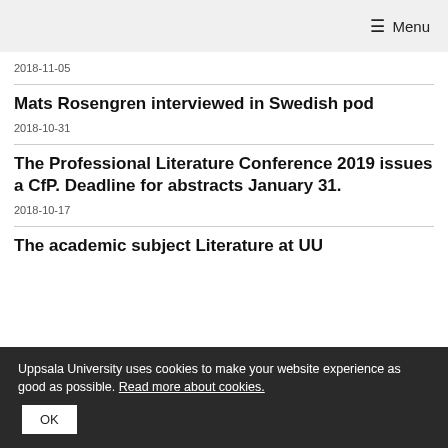≡ Menu
2018-11-05
Mats Rosengren interviewed in Swedish pod
2018-10-31
The Professional Literature Conference 2019 issues a CfP. Deadline for abstracts January 31.
2018-10-17
The academic subject Literature at UU
Uppsala University uses cookies to make your website experience as good as possible. Read more about cookies.